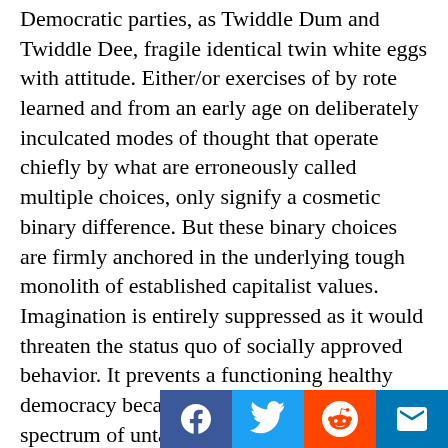Democratic parties, as Twiddle Dum and Twiddle Dee, fragile identical twin white eggs with attitude. Either/or exercises of by rote learned and from an early age on deliberately inculcated modes of thought that operate chiefly by what are erroneously called multiple choices, only signify a cosmetic binary difference. But these binary choices are firmly anchored in the underlying tough monolith of established capitalist values. Imagination is entirely suppressed as it would threaten the status quo of socially approved behavior. It prevents a functioning healthy   democracy because that demands a manifold spectrum of untainted choices in one's private as well as in one's social life.
This totalitarianism of binary thinking is what keeps the Republic in business because its various cultural divergences are a strong centrifugal force. However it impoverishes the exploration of different realities and equally of all political discourse. You are either my comrade or my opponent, either con...
[Figure (infographic): Social media sharing bar with Facebook, Twitter, Reddit, and email icons]